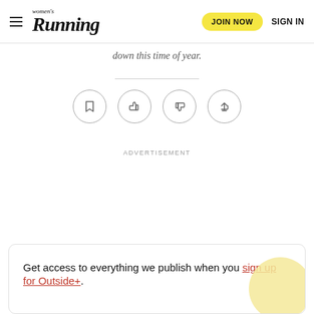women's Running | JOIN NOW | SIGN IN
down this time of year.
[Figure (other): Row of four circular icon buttons: bookmark, thumbs up, thumbs down, share]
ADVERTISEMENT
Get access to everything we publish when you sign up for Outside+.